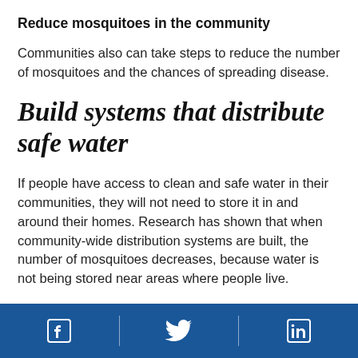Reduce mosquitoes in the community
Communities also can take steps to reduce the number of mosquitoes and the chances of spreading disease.
Build systems that distribute safe water
If people have access to clean and safe water in their communities, they will not need to store it in and around their homes. Research has shown that when community-wide distribution systems are built, the number of mosquitoes decreases, because water is not being stored near areas where people live.
[Figure (infographic): Footer bar with Facebook, Twitter, and LinkedIn social media icons on a blue background with white vertical dividers between them.]